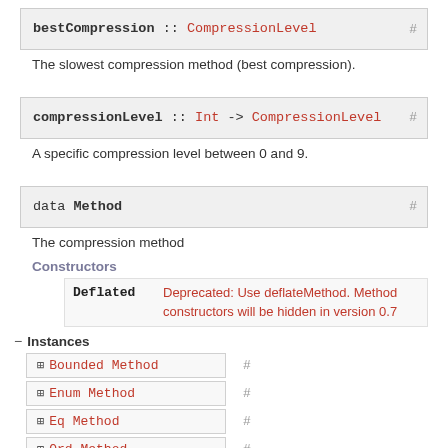bestCompression :: CompressionLevel #
The slowest compression method (best compression).
compressionLevel :: Int -> CompressionLevel #
A specific compression level between 0 and 9.
data Method #
The compression method
Constructors
Deflated  Deprecated: Use deflateMethod. Method constructors will be hidden in version 0.7
− Instances
+ Bounded Method  #
+ Enum Method  #
+ Eq Method  #
+ Ord Method  #
+ Show Method  #